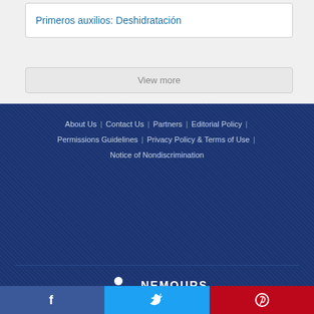Primeros auxilios: Deshidratación
View more
About Us | Contact Us | Partners | Editorial Policy | Permissions Guidelines | Privacy Policy & Terms of Use | Notice of Nondiscrimination
[Figure (logo): Nemours Children's Health logo in white on dark blue background]
[Figure (logo): Nemours KidsHealth logo — white badge shape with KidsHealth text on dark blue background]
[Figure (infographic): Social media share bar: Facebook (blue), Twitter (light blue), Pinterest (red) with icons]